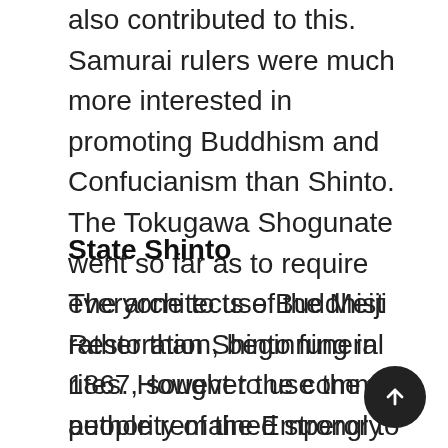also contributed to this. Samurai rulers were much more interested in promoting Buddhism and Confucianism than Shinto. The Tokugawa Shogunate went so far as to require everyone to use Buddhist rather than Shinto funeral rites. However the common people remained strongly attached to Shinto traditions.
State Shinto
The architects of the Meiji Restoration, beginning in 1867, sought to use the authority of the Emperor to eliminate Japan's semi-feudal institutions, abolish the traditional privileges of the samurai, and establish a modern centralized state that would strong enough to resist the threat of foreign